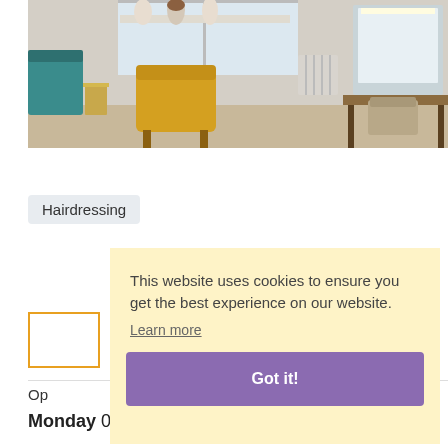[Figure (photo): Interior of a hair salon showing a yellow tufted armchair, mannequin heads on a shelf near a window, green sofa on left, and styling stations with mirrors and chairs on the right side.]
Hairdressing
This website uses cookies to ensure you get the best experience on our website.
Learn more
Got it!
Op
Monday 08:00-17:00